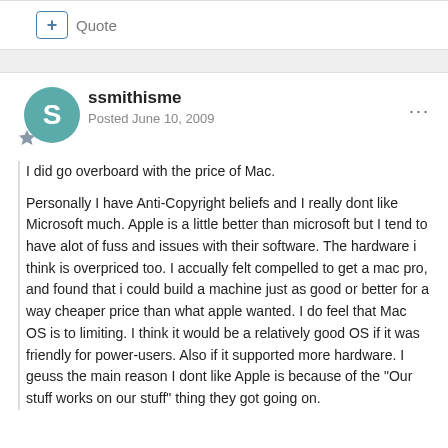+ Quote
ssmithisme
Posted June 10, 2009
I did go overboard with the price of Mac.

Personally I have Anti-Copyright beliefs and I really dont like Microsoft much. Apple is a little better than microsoft but I tend to have alot of fuss and issues with their software. The hardware i think is overpriced too. I accually felt compelled to get a mac pro, and found that i could build a machine just as good or better for a way cheaper price than what apple wanted. I do feel that Mac OS is to limiting. I think it would be a relatively good OS if it was friendly for power-users. Also if it supported more hardware. I geuss the main reason I dont like Apple is because of the "Our stuff works on our stuff" thing they got going on.